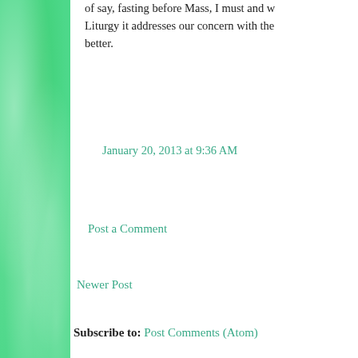of say, fasting before Mass, I must and w... Liturgy it addresses our concern with the... better.
January 20, 2013 at 9:36 AM
Post a Comment
Newer Post
Subscribe to: Post Comments (Atom)